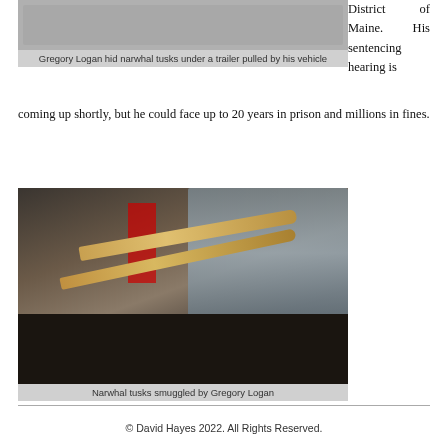[Figure (photo): Photo of narwhal tusks on a black-draped table with a Canadian flag and wildlife imagery in the background]
Gregory Logan hid narwhal tusks under a trailer pulled by his vehicle
District of Maine. His sentencing hearing is coming up shortly, but he could face up to 20 years in prison and millions in fines.
[Figure (photo): Narwhal tusks smuggled by Gregory Logan displayed on a dark table in a room with a Canadian flag]
Narwhal tusks smuggled by Gregory Logan
© David Hayes 2022. All Rights Reserved.